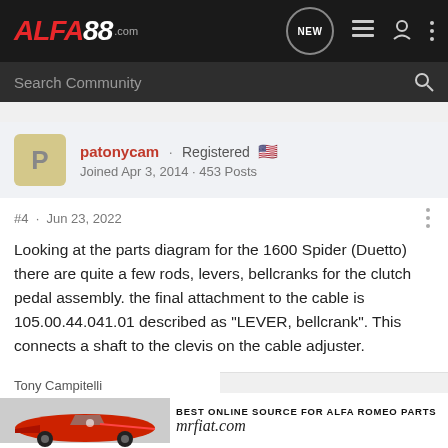ALFA88.com
Search Community
patonycam · Registered
Joined Apr 3, 2014 · 453 Posts
#4 · Jun 23, 2022
Looking at the parts diagram for the 1600 Spider (Duetto) there are quite a few rods, levers, bellcranks for the clutch pedal assembly. the final attachment to the cable is 105.00.44.041.01 described as "LEVER, bellcrank". This connects a shaft to the clevis on the cable adjuster.
Tony Campitelli
66 Duetto
[Figure (advertisement): mrfiat.com advertisement showing a red Alfa Romeo Duetto Spider car with text BEST ONLINE SOURCE FOR ALFA ROMEO PARTS and mrfiat.com]